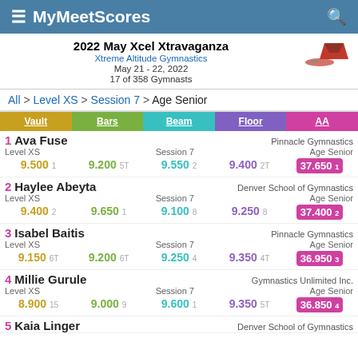MyMeetScores
2022 May Xcel Xtravaganza
Xtreme Altitude Gymnastics
May 21 - 22, 2022
17 of 358 Gymnasts
All > Level XS > Session 7 > Age Senior
| Vault | Bars | Beam | Floor | AA |
| --- | --- | --- | --- | --- |
| 9.500 1 | 9.200 5T | 9.550 2 | 9.400 2T | 37.650 1 |
| 9.400 2 | 9.650 1 | 9.100 8 | 9.250 8 | 37.400 2 |
| 9.150 6T | 9.200 6T | 9.250 4 | 9.350 4T | 36.950 3 |
| 8.900 15 | 9.000 9 | 9.600 1 | 9.350 5T | 36.850 4 |